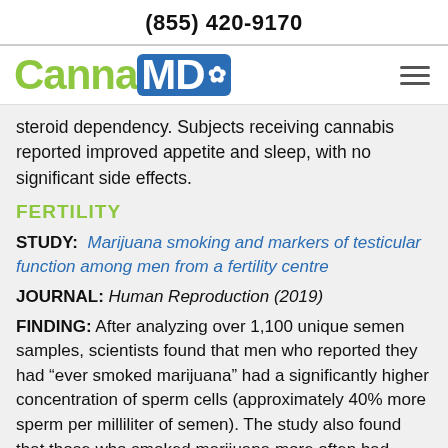(855) 420-9170
[Figure (logo): CannaMD logo with green Canna text and blue MD box with leaf icon, plus hamburger menu icon]
steroid dependency. Subjects receiving cannabis reported improved appetite and sleep, with no significant side effects.
FERTILITY
STUDY: Marijuana smoking and markers of testicular function among men from a fertility centre
JOURNAL: Human Reproduction (2019)
FINDING: After analyzing over 1,100 unique semen samples, scientists found that men who reported they had “ever smoked marijuana” had a significantly higher concentration of sperm cells (approximately 40% more sperm per milliliter of semen). The study also found that those who smoked marijuana more often had testosterone